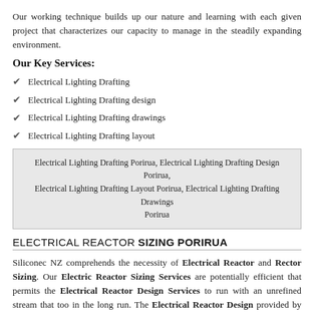Our working technique builds up our nature and learning with each given project that characterizes our capacity to manage in the steadily expanding environment.
Our Key Services:
Electrical Lighting Drafting
Electrical Lighting Drafting design
Electrical Lighting Drafting drawings
Electrical Lighting Drafting layout
Electrical Lighting Drafting Porirua, Electrical Lighting Drafting Design Porirua, Electrical Lighting Drafting Layout Porirua, Electrical Lighting Drafting Drawings Porirua
ELECTRICAL REACTOR SIZING PORIRUA
Siliconec NZ comprehends the necessity of Electrical Reactor and Rector Sizing. Our Electric Reactor Sizing Services are potentially efficient that permits the Electrical Reactor Design Services to run with an unrefined stream that too in the long run. The Electrical Reactor Design provided by Siliconec NZ is clear, intelligent, and